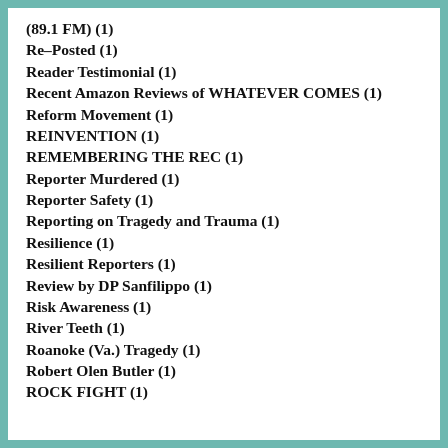(89.1 FM) (1)
Re-Posted (1)
Reader Testimonial (1)
Recent Amazon Reviews of WHATEVER COMES (1)
Reform Movement (1)
REINVENTION (1)
REMEMBERING THE REC (1)
Reporter Murdered (1)
Reporter Safety (1)
Reporting on Tragedy and Trauma (1)
Resilience (1)
Resilient Reporters (1)
Review by DP Sanfilippo (1)
Risk Awareness (1)
River Teeth (1)
Roanoke (Va.) Tragedy (1)
Robert Olen Butler (1)
ROCK FIGHT (1)